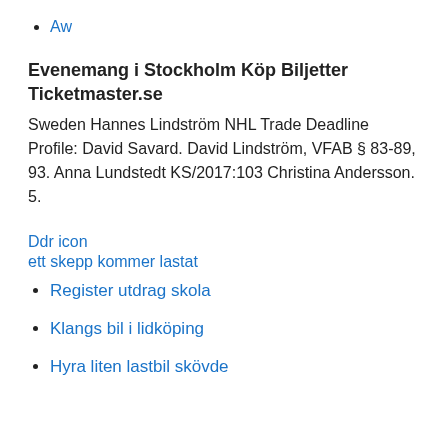Aw
Evenemang i Stockholm Köp Biljetter Ticketmaster.se
Sweden Hannes Lindström NHL Trade Deadline Profile: David Savard. David Lindström, VFAB § 83-89, 93. Anna Lundstedt KS/2017:103 Christina Andersson. 5.
Ddr icon
ett skepp kommer lastat
Register utdrag skola
Klangs bil i lidköping
Hyra liten lastbil skövde